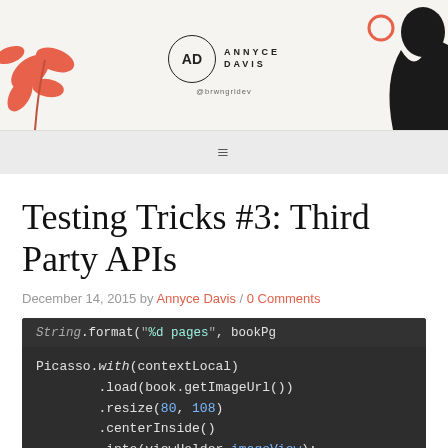[Figure (illustration): Blog header with Annyce Davis logo (AD monogram in circle, ANNYCE DAVIS text, @brwngrldev handle) centered, with decorative pink/coral plant illustration on the left and black silhouette figure on the right, on a warm off-white background.]
≡
Testing Tricks #3: Third Party APIs
December 14, 2015 by Annyce Davis / 0 Comments
[Figure (screenshot): Screenshot of dark-themed code editor showing Java/Android code using Picasso image loading library: 'String.format( "%d pages", bookPg' on first line (partially visible), then 'Picasso.with(contextLocal)' followed by '.load(book.getImageUrl())' then '.resize(80, 108)' then '.centerInside()' then '.into(viewHolder.imageView);' with syntax highlighting (numeric values in blue, method name 'with' in italic, 'imageView' property in blue).]